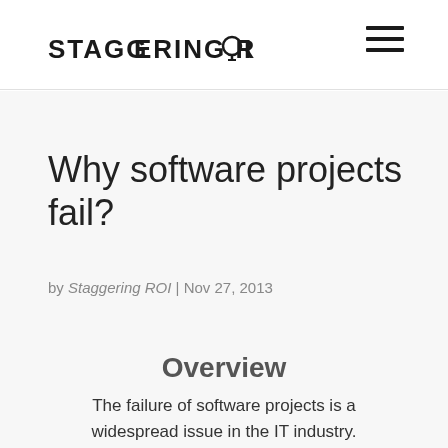STAGGERING ROI
Why software projects fail?
by Staggering ROI | Nov 27, 2013
Overview
The failure of software projects is a widespread issue in the IT industry.